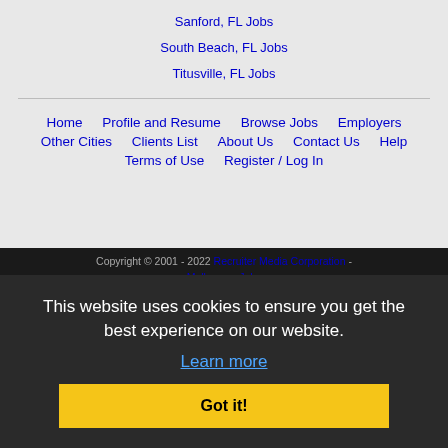Sanford, FL Jobs
South Beach, FL Jobs
Titusville, FL Jobs
Home | Profile and Resume | Browse Jobs | Employers | Other Cities | Clients List | About Us | Contact Us | Help | Terms of Use | Register / Log In
Copyright © 2001 - 2022 Recruiter Media Corporation - Melbourne Jobs
This website uses cookies to ensure you get the best experience on our website. Learn more Got it!